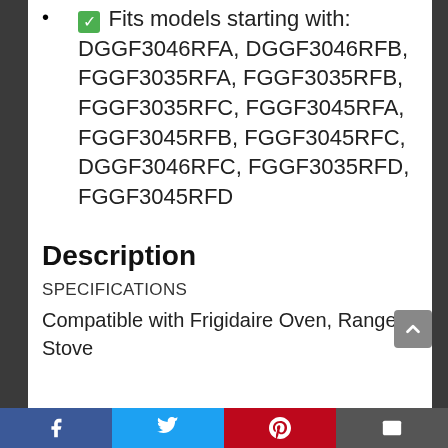✅ Fits models starting with: DGGF3046RFA, DGGF3046RFB, FGGF3035RFA, FGGF3035RFB, FGGF3035RFC, FGGF3045RFA, FGGF3045RFB, FGGF3045RFC, DGGF3046RFC, FGGF3035RFD, FGGF3045RFD
Description
SPECIFICATIONS
Compatible with Frigidaire Oven, Range or Stove